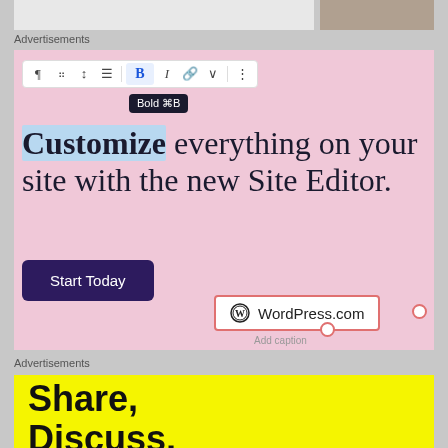[Figure (screenshot): Partial top strip showing green button and photo on grey background]
Advertisements
[Figure (screenshot): Pink advertisement block showing a toolbar with Bold highlighted, text 'Customize everything on your site with the new Site Editor.', a 'Start Today' dark purple button, and a WordPress.com logo in a pink-bordered box with Add caption label below it.]
Advertisements
[Figure (screenshot): Yellow advertisement block with large bold black text: 'Share, Discuss, Collaborate, D?']